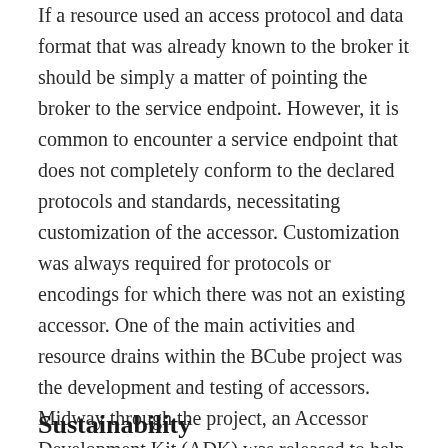If a resource used an access protocol and data format that was already known to the broker it should be simply a matter of pointing the broker to the service endpoint. However, it is common to encounter a service endpoint that does not completely conform to the declared protocols and standards, necessitating customization of the accessor. Customization was always required for protocols or encodings for which there was not an existing accessor. One of the main activities and resource drains within the BCube project was the development and testing of accessors. Midway through the project, an Accessor Development Kit (ADK) was released to help the developers who had been tasked with writing accessors.
Sustainability